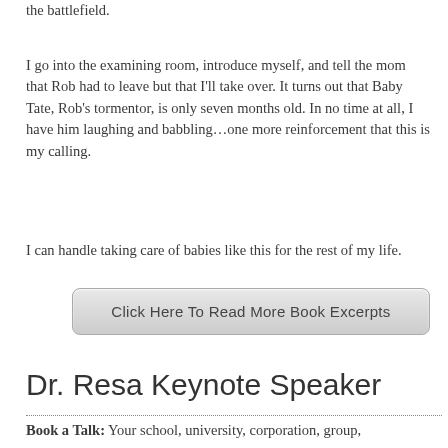the battlefield.
I go into the examining room, introduce myself, and tell the mom that Rob had to leave but that I'll take over. It turns out that Baby Tate, Rob's tormentor, is only seven months old. In no time at all, I have him laughing and babbling…one more reinforcement that this is my calling.
I can handle taking care of babies like this for the rest of my life.
Click Here To Read More Book Excerpts
Dr. Resa Keynote Speaker
Book a Talk: Your school, university, corporation, group,